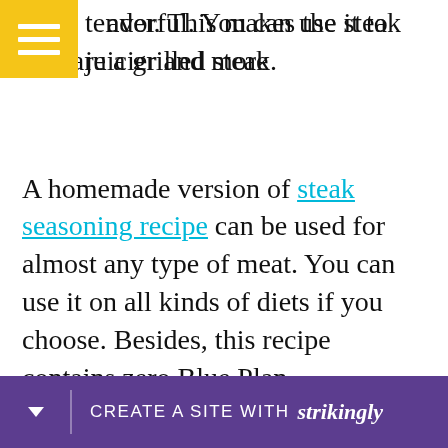tender. This makes the steak juicier and more flavorful. You can use it to prepare a grilled steak.
A homemade version of steak seasoning recipe can be used for almost any type of meat. You can use it on all kinds of diets if you choose. Besides, this recipe contains zero Blue Plan SmartPoints and can be used on many different types of meat. A good homemade seasoning can be mixed with oil and added to the steak while it's cooking. Once mixed, the steak is ready. The best way to season a steak... and more...
[Figure (screenshot): Yellow hamburger menu button icon in top-left corner]
CREATE A SITE WITH strikingly